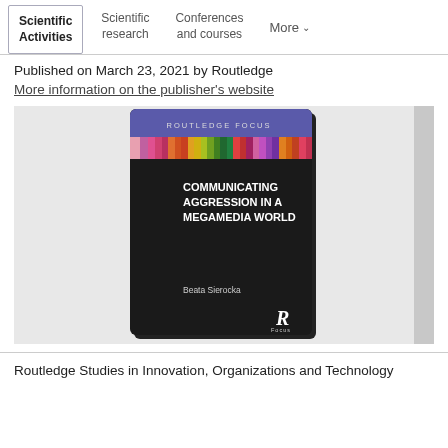Scientific Activities | Scientific research | Conferences and courses | More
Published on March 23, 2021 by Routledge
More information on the publisher's website
[Figure (photo): Book cover: 'Communicating Aggression in a Megamedia World' by Beata Sierocka, Routledge Focus series. Black cover with colorful striped band at top and Routledge logo at bottom.]
Routledge Studies in Innovation, Organizations and Technology